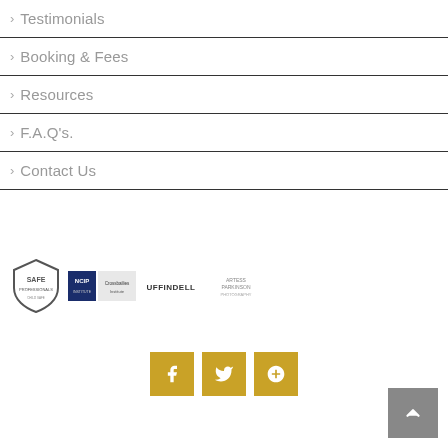Testimonials
Booking & Fees
Resources
F.A.Q's.
Contact Us
[Figure (logo): Row of logos: SAFE Professionals, NCIP Crossbailies Institute, UFFINDELL, Artess Parkinson Photography]
[Figure (other): Social media buttons: Facebook, Twitter, Google Plus in gold/yellow, and a back-to-top arrow button in grey]